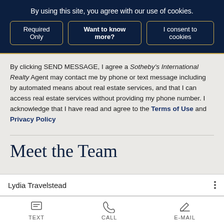By using this site, you agree with our use of cookies.
Required Only | Want to know more? | I consent to cookies
By clicking SEND MESSAGE, I agree a Sotheby's International Realty Agent may contact me by phone or text message including by automated means about real estate services, and that I can access real estate services without providing my phone number. I acknowledge that I have read and agree to the Terms of Use and Privacy Policy
Meet the Team
Lydia Travelstead
TEXT | CALL | E-MAIL